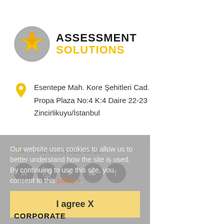[Figure (logo): Assessment Solutions logo with circular emblem (grey circle with yellow star/person figure) and bold text 'ASSESSMENT SOLUTIONS' in black and yellow]
Esentepe Mah. Kore Şehitleri Cad.
Propa Plaza No:4 K:4 Daire 22-23
Zincirlikuyu/İstanbul
+90 (212) 283 95 95
[Figure (infographic): Five circular black social media icons: LinkedIn, Instagram, YouTube, Twitter, Facebook]
Our website uses cookies to allow us to better understand how the site is used. By continuing to use this site, you consent to this policy >.
I agree X
CORPORATE